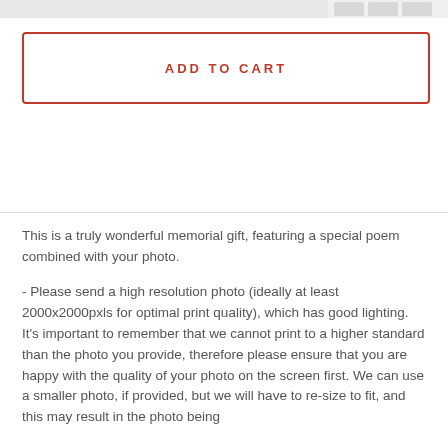[Figure (screenshot): Top navigation/header bar with input field and buttons]
ADD TO CART
This is a truly wonderful memorial gift, featuring a special poem combined with your photo.

- Please send a high resolution photo (ideally at least 2000x2000pxls for optimal print quality), which has good lighting. It's important to remember that we cannot print to a higher standard than the photo you provide, therefore please ensure that you are happy with the quality of your photo on the screen first. We can use a smaller photo, if provided, but we will have to re-size to fit, and this may result in the photo being